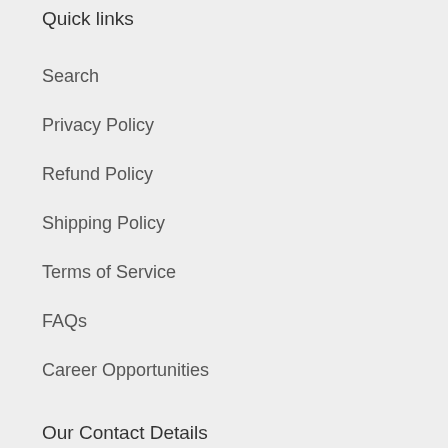Quick links
Search
Privacy Policy
Refund Policy
Shipping Policy
Terms of Service
FAQs
Career Opportunities
Our Contact Details